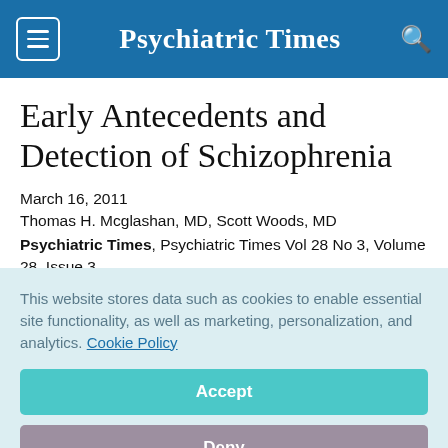Psychiatric Times
Early Antecedents and Detection of Schizophrenia
March 16, 2011
Thomas H. Mcglashan, MD, Scott Woods, MD
Psychiatric Times, Psychiatric Times Vol 28 No 3, Volume 28, Issue 3
This website stores data such as cookies to enable essential site functionality, as well as marketing, personalization, and analytics. Cookie Policy
Accept
Deny